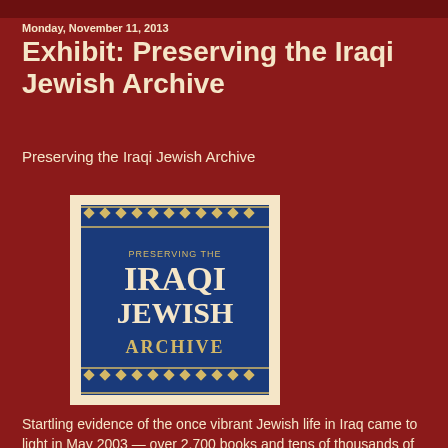Monday, November 11, 2013
Exhibit: Preserving the Iraqi Jewish Archive
Preserving the Iraqi Jewish Archive
[Figure (illustration): Book cover or exhibit logo: 'Preserving the Iraqi Jewish Archive' — dark blue background with gold diamond-pattern borders top and bottom, gold and cream serif text reading PRESERVING THE IRAQI JEWISH ARCHIVE]
Startling evidence of the once vibrant Jewish life in Iraq came to light in May 2003 — over 2,700 books and tens of thousands of documents were discovered in the flooded